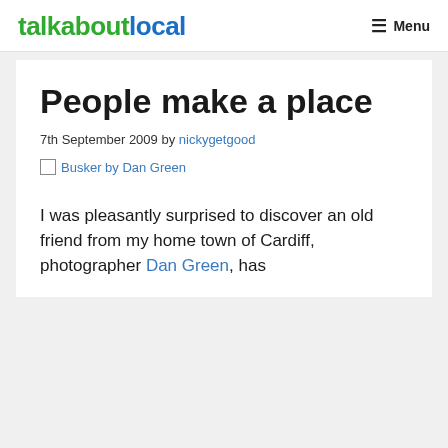talkaboutlocal   ☰ Menu
People make a place
7th September 2009 by nickygetgood
[Figure (photo): Broken image link: Busker by Dan Green]
I was pleasantly surprised to discover an old friend from my home town of Cardiff, photographer Dan Green, has